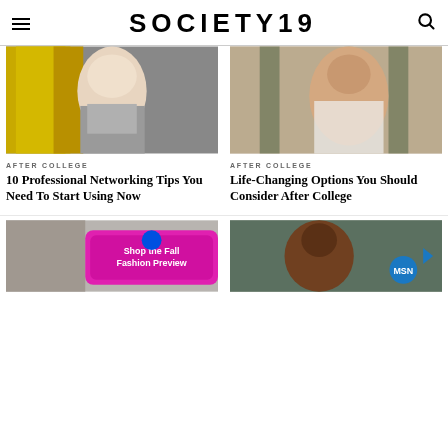SOCIETY19
[Figure (photo): Blonde woman in grey coat on city street with yellow taxis in background]
AFTER COLLEGE
10 Professional Networking Tips You Need To Start Using Now
[Figure (photo): Woman in white dress celebrating with champagne]
AFTER COLLEGE
Life-Changing Options You Should Consider After College
[Figure (photo): Building facade with pink advertisement overlay: Shop the Fall Fashion Preview]
[Figure (photo): Woman outdoors in forest setting with blue MSN logo badge]